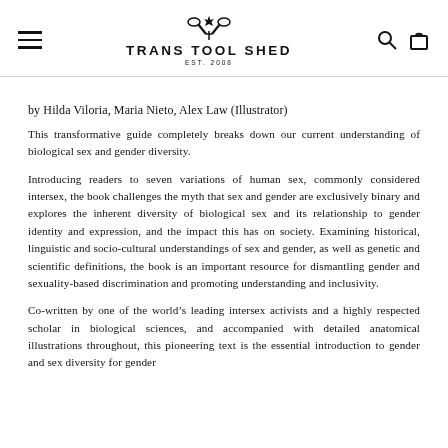Trans Tool Shed EST. 2008
by Hilda Viloria, Maria Nieto, Alex Law (Illustrator)
This transformative guide completely breaks down our current understanding of biological sex and gender diversity.
Introducing readers to seven variations of human sex, commonly considered intersex, the book challenges the myth that sex and gender are exclusively binary and explores the inherent diversity of biological sex and its relationship to gender identity and expression, and the impact this has on society. Examining historical, linguistic and socio-cultural understandings of sex and gender, as well as genetic and scientific definitions, the book is an important resource for dismantling gender and sexuality-based discrimination and promoting understanding and inclusivity.
Co-written by one of the world’s leading intersex activists and a highly respected scholar in biological sciences, and accompanied with detailed anatomical illustrations throughout, this pioneering text is the essential introduction to gender and sex diversity for gender